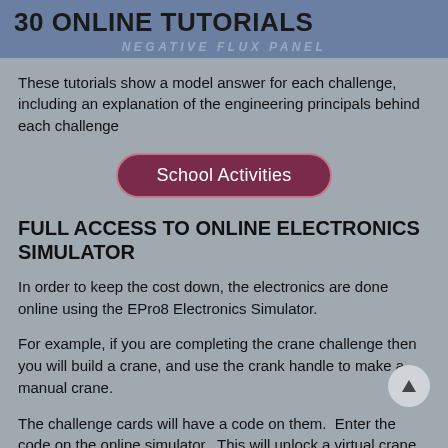30 ONLINE TUTORIALS
NEGATIVE FLUX PANEL
These tutorials show a model answer for each challenge, including an explanation of the engineering principals behind each challenge
[Figure (other): School Activities button with rounded rectangle border, dark maroon/purple background, white text]
FULL ACCESS TO ONLINE ELECTRONICS SIMULATOR
In order to keep the cost down, the electronics are done online using the EPro8 Electronics Simulator.
For example, if you are completing the crane challenge then you will build a crane, and use the crank handle to make a manual crane.
The challenge cards will have a code on them.  Enter the code on the online simulator.  This will unlock a virtual crane on the